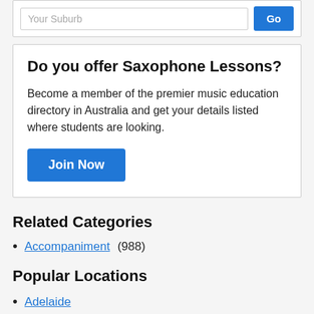Your Suburb
Do you offer Saxophone Lessons?
Become a member of the premier music education directory in Australia and get your details listed where students are looking.
Join Now
Related Categories
Accompaniment (988)
Popular Locations
Adelaide
Ballarat